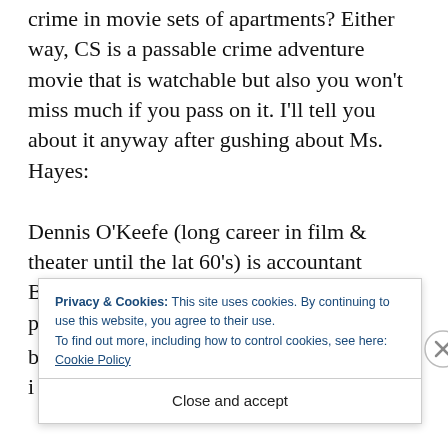...followed by gangsters talking about crime in movie sets of apartments? Either way, CS is a passable crime adventure movie that is watchable but also you won't miss much if you pass on it. I'll tell you about it anyway after gushing about Ms. Hayes:
Dennis O'Keefe (long career in film & theater until the lat 60's) is accountant Barry, who is approached by a group of prominent b... i...
Privacy & Cookies: This site uses cookies. By continuing to use this website, you agree to their use.
To find out more, including how to control cookies, see here: Cookie Policy
Close and accept